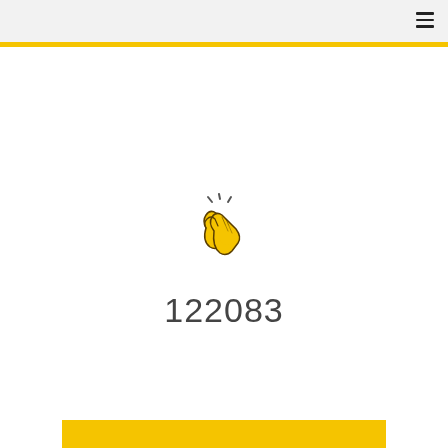[Figure (illustration): Clapping hands emoji icon in yellow with motion lines above, outline style]
122083